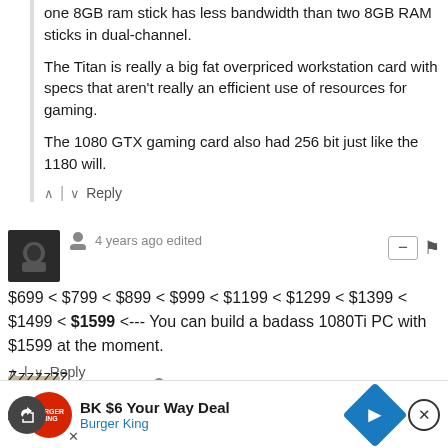one 8GB ram stick has less bandwidth than two 8GB RAM sticks in dual-channel.
The Titan is really a big fat overpriced workstation card with specs that aren't really an efficient use of resources for gaming.
The 1080 GTX gaming card also had 256 bit just like the 1180 will.
4 years ago edited
$699 < $799 < $899 < $999 < $1199 < $1299 < $1399 < $1499 < $1599 <--- You can build a badass 1080Ti PC with $1599 at the moment.
Yeltnerb1
4 years ago
[Figure (screenshot): Burger King advertisement bar: BK $6 Your Way Deal, Burger King, with blue diamond navigation icon]